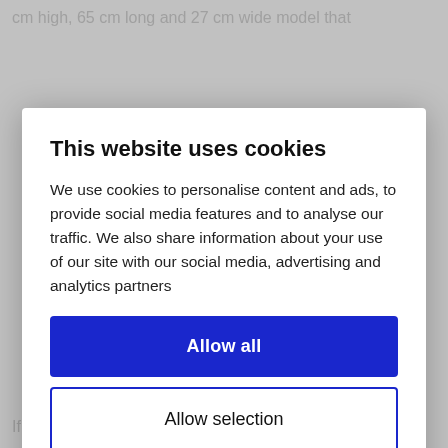cm high, 65 cm long and 27 cm wide model that
This website uses cookies
We use cookies to personalise content and ads, to provide social media features and to analyse our traffic. We also share information about your use of our site with our social media, advertising and analytics partners
Allow all
Allow selection
Deny
Powered by Cookiebot by Usercentrics
If you are a nostalgic fan, LEGO® offers you the